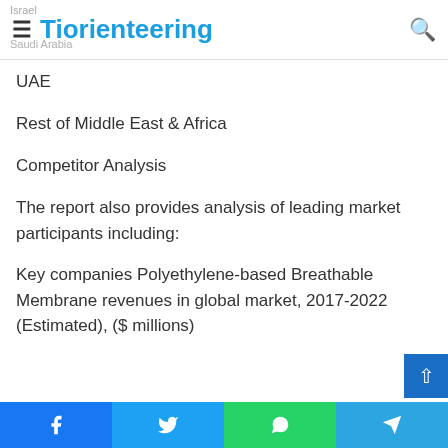Tiorienteering
UAE
Rest of Middle East & Africa
Competitor Analysis
The report also provides analysis of leading market participants including:
Key companies Polyethylene-based Breathable Membrane revenues in global market, 2017-2022 (Estimated), ($ millions)
Facebook | Twitter | WhatsApp | Telegram